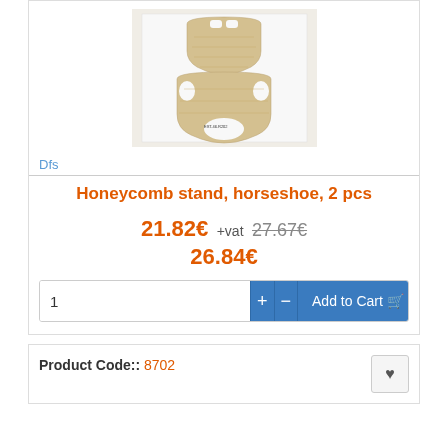[Figure (photo): Product photo of honeycomb stand horseshoe shaped ceramic pieces in beige/cream color, two pieces on a white background]
Dfs
Honeycomb stand, horseshoe, 2 pcs
21.82€ +vat  27.67€  26.84€
1   +   −   Add to Cart
Product Code:: 8702